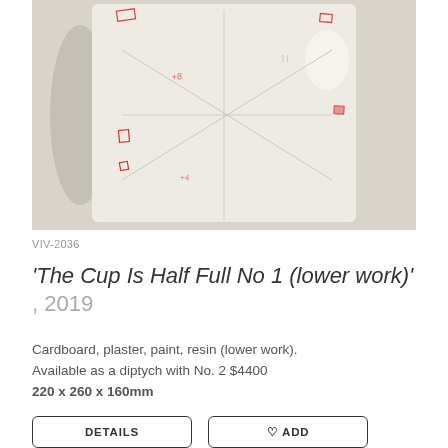[Figure (photo): Back of a white ceramic or plaster rectangular block/cup with red crayon/paint markings and geometric pencil lines scratched on the surface. The object casts a shadow on a light grey background.]
VIV-2036
'The Cup Is Half Full No 1 (lower work)', 2019
Cardboard, plaster, paint, resin (lower work).
Available as a diptych with No. 2 $4400
220 x 260 x 160mm